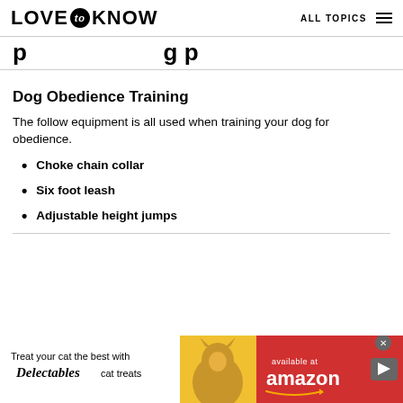LOVE to KNOW  ALL TOPICS
p...g p
Dog Obedience Training
The follow equipment is all used when training your dog for obedience.
Choke chain collar
Six foot leash
Adjustable height jumps
[Figure (infographic): Advertisement banner: Treat your cat the best with Delectables cat treats, available at amazon. Features a cat image and yellow/red color scheme.]